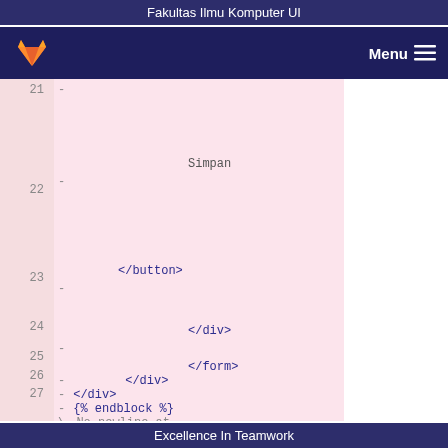Fakultas Ilmu Komputer UI
[Figure (screenshot): GitLab navigation bar with fox logo and Menu hamburger icon on dark navy background]
21  -
    Simpan
22  -
    </button>
23  -
    </div>
24  -
    </form>
25  -        </div>
26  -  </div>
27  -  {% endblock %}
    \ No newline at...
Excellence In Teamwork